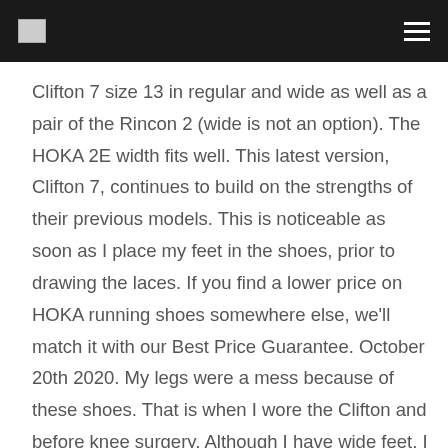[logo] [hamburger menu]
Clifton 7 size 13 in regular and wide as well as a pair of the Rincon 2 (wide is not an option). The HOKA 2E width fits well. This latest version, Clifton 7, continues to build on the strengths of their previous models. This is noticeable as soon as I place my feet in the shoes, prior to drawing the laces. If you find a lower price on HOKA running shoes somewhere else, we'll match it with our Best Price Guarantee. October 20th 2020. My legs were a mess because of these shoes. That is when I wore the Clifton and before knee surgery. Although I have wide feet, I have never bought 2E shoes until this pair. However because of no sore feelings after jog, performance is 100%,